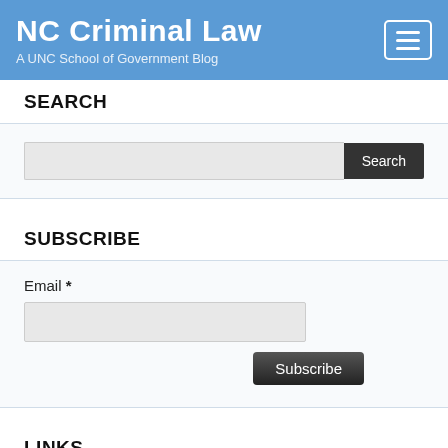NC Criminal Law
A UNC School of Government Blog
SEARCH
Search input and button
SUBSCRIBE
Email *
Subscribe button
LINKS
About this Blog
ARCHIVES